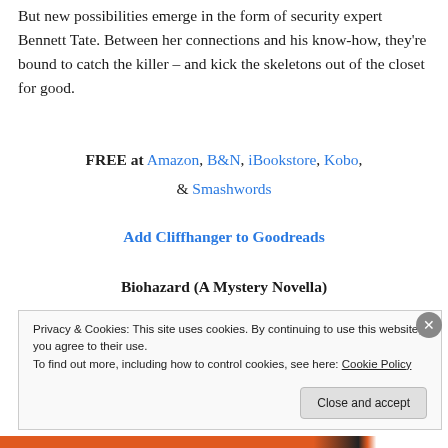But new possibilities emerge in the form of security expert Bennett Tate. Between her connections and his know-how, they're bound to catch the killer – and kick the skeletons out of the closet for good.
FREE at Amazon, B&N, iBookstore, Kobo, & Smashwords
Add Cliffhanger to Goodreads
Biohazard (A Mystery Novella)
[Figure (photo): Book cover for Biohazard showing pink and dark text on a dark background]
Privacy & Cookies: This site uses cookies. By continuing to use this website, you agree to their use.
To find out more, including how to control cookies, see here: Cookie Policy
Close and accept